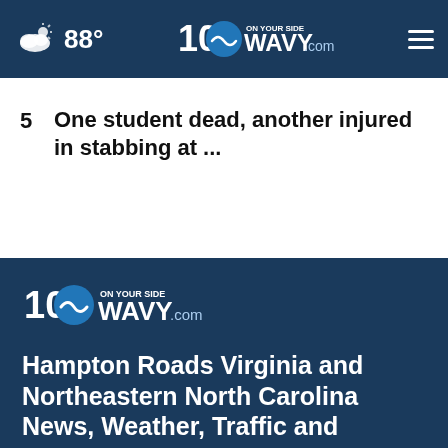88° WAVY.com On Your Side 10
5  One student dead, another injured in stabbing at ...
[Figure (logo): WAVY.com On Your Side 10 logo]
Hampton Roads Virginia and Northeastern North Carolina News, Weather, Traffic and Sports.